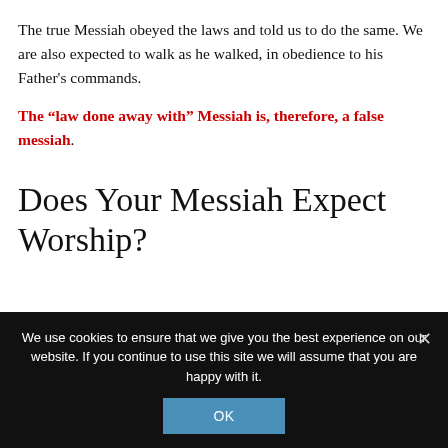The true Messiah obeyed the laws and told us to do the same. We are also expected to walk as he walked, in obedience to his Father's commands.
The “law done away with” Messiah is, therefore, a false messiah.
Does Your Messiah Expect Worship?
We use cookies to ensure that we give you the best experience on our website. If you continue to use this site we will assume that you are happy with it.